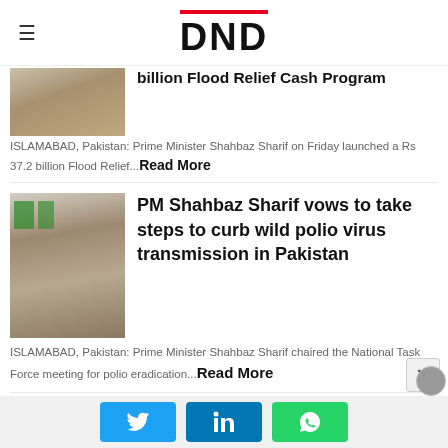DND
billion Flood Relief Cash Program
ISLAMABAD, Pakistan: Prime Minister Shahbaz Sharif on Friday launched a Rs 37.2 billion Flood Relief... Read More
[Figure (photo): Photo of a person in a tan/beige shirt]
PM Shahbaz Sharif vows to take steps to curb wild polio virus transmission in Pakistan
[Figure (photo): Photo of PM Shahbaz Sharif in a suit with Pakistani flags in background]
ISLAMABAD, Pakistan: Prime Minister Shahbaz Sharif chaired the National Task Force meeting for polio eradication... Read More
Pakistan looks forward to strengthening friendship with
[Figure (photo): Photo of a grey-haired man with hand near face]